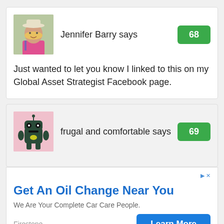Jennifer Barry says
68
Just wanted to let you know I linked to this on my Global Asset Strategist Facebook page.
frugal and comfortable says
69
[Figure (infographic): Advertisement: Get An Oil Change Near You. We Are Your Complete Car Care People. Firestone. Learn More button.]